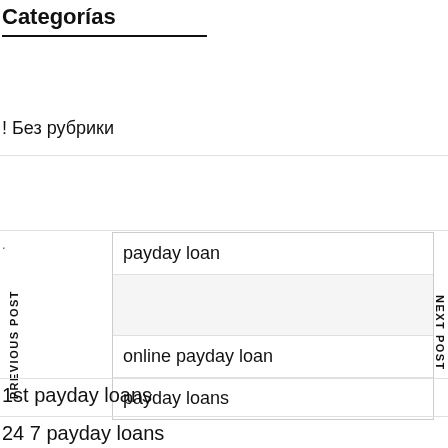Categorías
! Без рубрики
payday loan
online payday loan
payday loans
PREVIOUS POST
NEXT POST
1st payday loans
24 7 payday loans